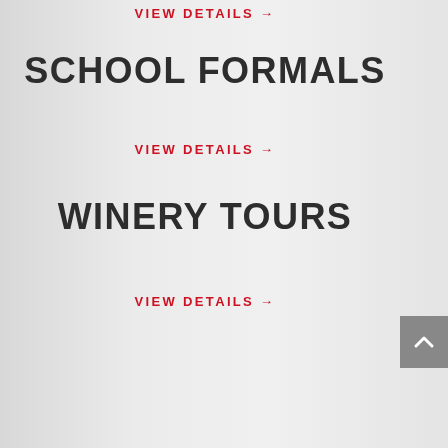VIEW DETAILS →
SCHOOL FORMALS
VIEW DETAILS →
WINERY TOURS
VIEW DETAILS →